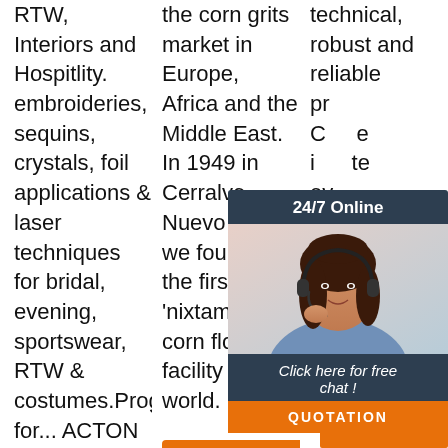RTW, Interiors and Hospitlity. embroideries, sequins, crystals, foil applications & laser techniques for bridal, evening, sportswear, RTW & costumes.Programs for... ACTON FABRICS, LLC Agent for a large selection of shirtings and
the corn grits market in Europe, Africa and the Middle East. In 1949 in Cerralvo, Nuevo Leon, we founded the first 'nixtamal' corn flour facility in the world.
[Figure (other): Get Price orange button]
technical, robust and reliable products. Cr... experienced in... technology... every... parts... with... design... functional utensils that are ...
[Figure (other): 24/7 Online chat widget with woman wearing headset, dark header, orange click here for free chat and QUOTATION button]
[Figure (logo): TOP logo in orange with dots]